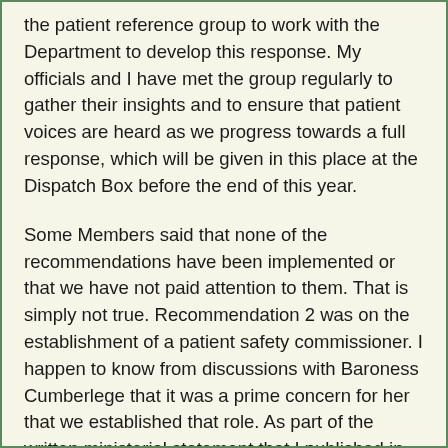the patient reference group to work with the Department to develop this response. My officials and I have met the group regularly to gather their insights and to ensure that patient voices are heard as we progress towards a full response, which will be given in this place at the Dispatch Box before the end of this year.
Some Members said that none of the recommendations have been implemented or that we have not paid attention to them. That is simply not true. Recommendation 2 was on the establishment of a patient safety commissioner. I happen to know from discussions with Baroness Cumberlege that it was a prime concern for her that we established that role. As part of the written ministerial statement that I published in January, I announced that the Government had tabled an amendment to the Medicines and